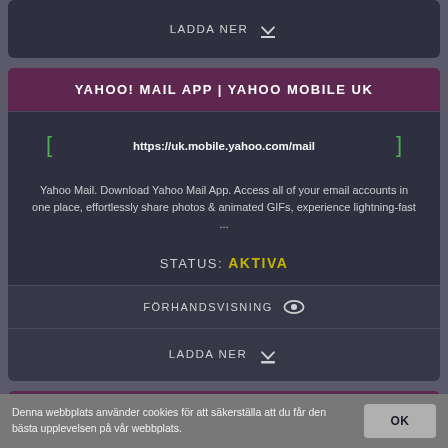[Figure (screenshot): Top strip showing partial card with LADDA NER download button]
YAHOO! MAIL APP | YAHOO MOBILE UK
https://uk.mobile.yahoo.com/mail
Yahoo Mail. Download Yahoo Mail App. Access all of your email accounts in one place, effortlessly share photos & animated GIFs, experience lightning-fast ...
STATUS: AKTIVA
FÖRHANDSVISNING
LADDA NER
[Figure (screenshot): Bottom strip showing partial card with purple header]
Denna webbplats använder cookies för att säkerställa att du får den bästa upplevelsen på vår webbplats.